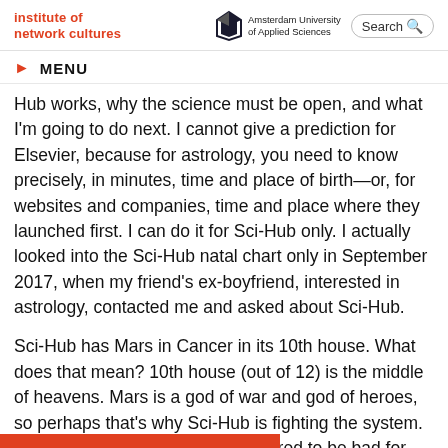institute of network cultures | Amsterdam University of Applied Sciences | Search
MENU
Hub works, why the science must be open, and what I'm going to do next. I cannot give a prediction for Elsevier, because for astrology, you need to know precisely, in minutes, time and place of birth—or, for websites and companies, time and place where they launched first. I can do it for Sci-Hub only. I actually looked into the Sci-Hub natal chart only in September 2017, when my friend's ex-boyfriend, interested in astrology, contacted me and asked about Sci-Hub.
Sci-Hub has Mars in Cancer in its 10th house. What does that mean? 10th house (out of 12) is the middle of heavens. Mars is a god of war and god of heroes, so perhaps that's why Sci-Hub is fighting the system. Usually Mars in Cancer is considered to be bad for